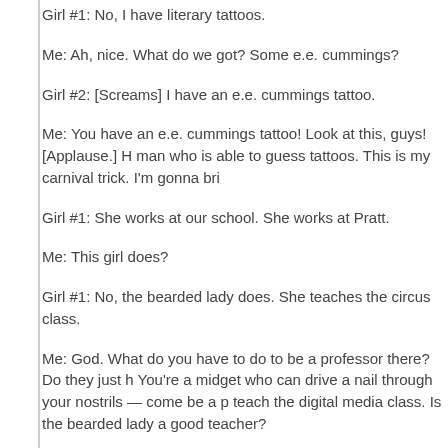Girl #1: No, I have literary tattoos.
Me: Ah, nice. What do we got? Some e.e. cummings?
Girl #2: [Screams] I have an e.e. cummings tattoo.
Me: You have an e.e. cummings tattoo! Look at this, guys! [Applause.] He man who is able to guess tattoos. This is my carnival trick. I'm gonna bri
Girl #1: She works at our school. She works at Pratt.
Me: This girl does?
Girl #1: No, the bearded lady does. She teaches the circus class.
Me: God. What do you have to do to be a professor there? Do they just h You're a midget who can drive a nail through your nostrils — come be a p teach the digital media class. Is the bearded lady a good teacher?
Girl #1: She teaches the circus class. You can't take it as a freshman.
Me: Yeah, you need to be a little more EXPERIENCED before you take t just anyone tame the lions at Pratt." Circus class! What are you doing wi does this school cost you a year?